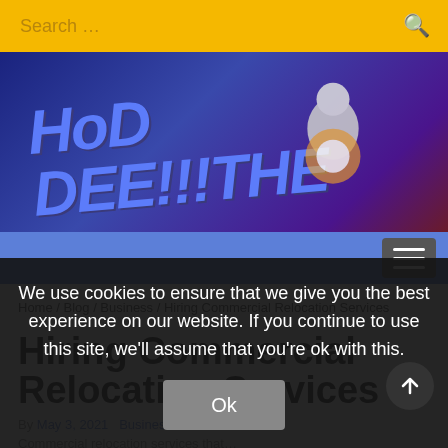Search ...
[Figure (illustration): Website banner with stylized blue graffiti text 'HOD DEE!!!THE' over a dark blue/purple background with a figure holding a bright light]
Navigation menu button (hamburger)
Home / Blog / Business / Hiring Commercial Relocation Services
Hiring Commercial Relocation Services
We use cookies to ensure that we give you the best experience on our website. If you continue to use this site, we'll assume that you're ok with this.
Ok
By May 3, 2021  Business
Commercial relocation services that...